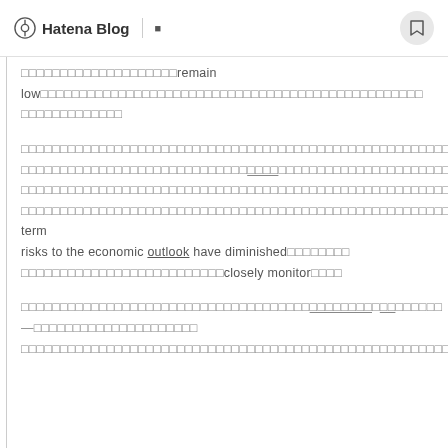Hatena Blog
□□□□□□□□□□□□□□□□□□□□remain low□□□□□□□□□□□□□□□□□□□□□□□□□□□□□□□□□□□□□□□□□□□□□□□□□□□□□□□□□□□□□□□□□□□□□□□□□□□□□□□□□□□□□□□□□□□□□□□□□□□□□□□□□□□□□□□□□□□□□□□□□□□□□□□□□□□□□□□□□□□□□□□□□□□□□□□□□□□□□□□□□□□□□□□□□□□□□□□□□□□□□□□□□□□□□□□□□□□□□□□□□□□□□□□□□□□□□□□□□□□□□□□□□□□□□□□□□□□□□□□□□□□□near-term risks to the economic outlook have diminished□□□□□□□□□□□□□□□□□□□□□□□□□□□□□□□□□□□□□□closely monitor□□□□
□□□□□□□□□□□□□□□□□□□□□□□□□□□□□□□□□□□□□□□□□□□□□□□□□—□□□□□□□□□□□□□□□□□□□□□□□□□□□□□□□□□□□□□□□□□□□□□□□□□□□□□□□□□□□□□□□□□□□□□□□□□□□□□□□□□□□□□□□□□□□□□□□□□□□□□□□□□□□□